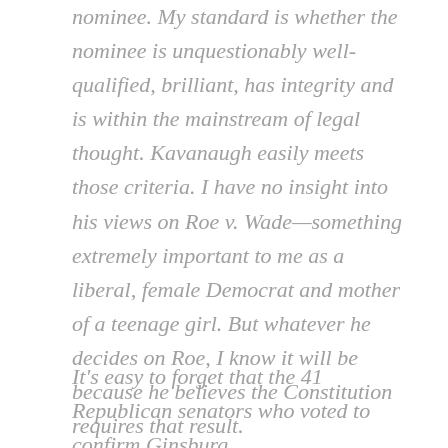nominee. My standard is whether the nominee is unquestionably well-qualified, brilliant, has integrity and is within the mainstream of legal thought. Kavanaugh easily meets those criteria. I have no insight into his views on Roe v. Wade—something extremely important to me as a liberal, female Democrat and mother of a teenage girl. But whatever he decides on Roe, I know it will be because he believes the Constitution requires that result.
It's easy to forget that the 41 Republican senators who voted to confirm Ginsburg